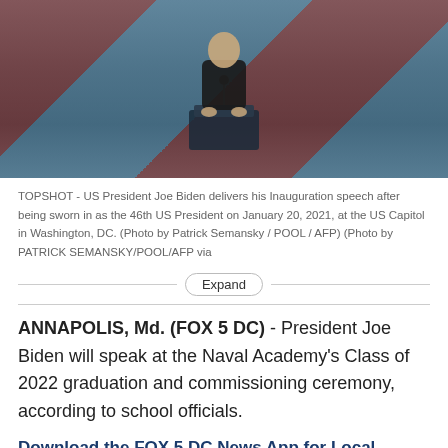[Figure (photo): US President Joe Biden at a podium delivering his Inauguration speech, with red and blue background]
TOPSHOT - US President Joe Biden delivers his Inauguration speech after being sworn in as the 46th US President on January 20, 2021, at the US Capitol in Washington, DC. (Photo by Patrick Semansky / POOL / AFP) (Photo by PATRICK SEMANSKY/POOL/AFP via
ANNAPOLIS, Md. (FOX 5 DC) - President Joe Biden will speak at the Naval Academy's Class of 2022 graduation and commissioning ceremony, according to school officials.
Download the FOX 5 DC News App for Local Breaking News and Weather